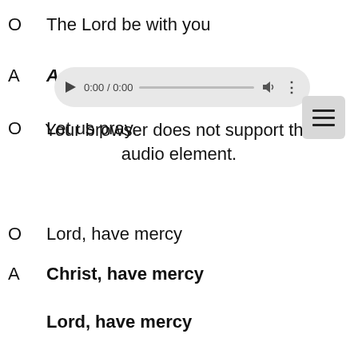O  The Lord be with you
A  A [audio player]
[Figure (screenshot): Inline audio player widget showing 0:00 / 0:00 with play button, progress bar, volume icon, and menu dots. A hamburger menu button appears to the right.]
O  Let us pray.
Your browser does not support the audio element.
O  Lord, have mercy
A  Christ, have mercy
Lord, have mercy